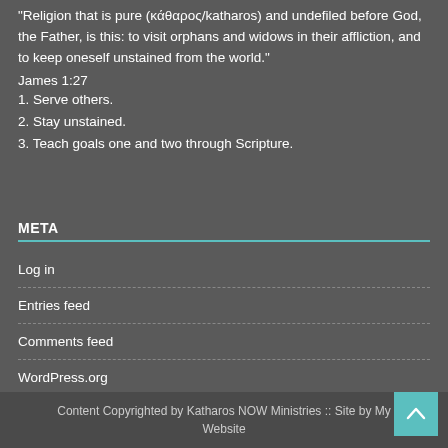"Religion that is pure (κάθαρος/katharos) and undefiled before God, the Father, is this: to visit orphans and widows in their affliction, and to keep oneself unstained from the world."
James 1:27
1. Serve others.
2. Stay unstained.
3. Teach goals one and two through Scripture.
META
Log in
Entries feed
Comments feed
WordPress.org
Content Copyrighted by Katharos NOW Ministries :: Site by My Website